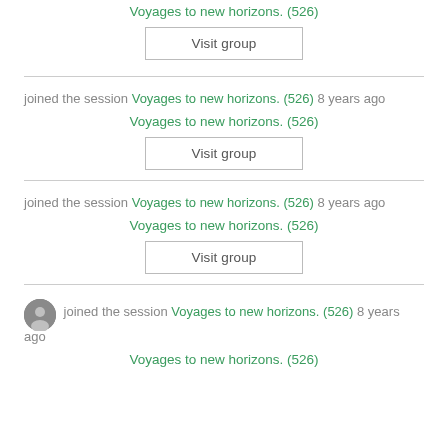Voyages to new horizons. (526)
Visit group
joined the session Voyages to new horizons. (526) 8 years ago
Voyages to new horizons. (526)
Visit group
joined the session Voyages to new horizons. (526) 8 years ago
Voyages to new horizons. (526)
Visit group
joined the session Voyages to new horizons. (526) 8 years ago
Voyages to new horizons. (526)